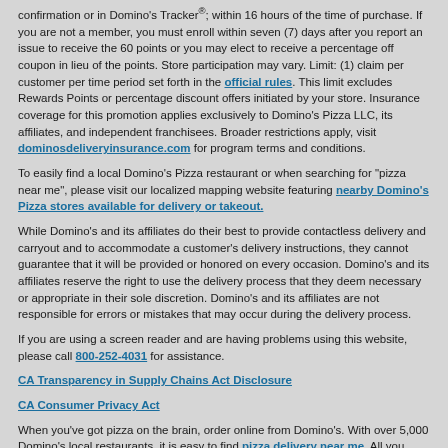confirmation or in Domino's Tracker®; within 16 hours of the time of purchase. If you are not a member, you must enroll within seven (7) days after you report an issue to receive the 60 points or you may elect to receive a percentage off coupon in lieu of the points. Store participation may vary. Limit: (1) claim per customer per time period set forth in the official rules. This limit excludes Rewards Points or percentage discount offers initiated by your store. Insurance coverage for this promotion applies exclusively to Domino's Pizza LLC, its affiliates, and independent franchisees. Broader restrictions apply, visit dominosdeliveryinsurance.com for program terms and conditions.
To easily find a local Domino's Pizza restaurant or when searching for "pizza near me", please visit our localized mapping website featuring nearby Domino's Pizza stores available for delivery or takeout.
While Domino's and its affiliates do their best to provide contactless delivery and carryout and to accommodate a customer's delivery instructions, they cannot guarantee that it will be provided or honored on every occasion. Domino's and its affiliates reserve the right to use the delivery process that they deem necessary or appropriate in their sole discretion. Domino's and its affiliates are not responsible for errors or mistakes that may occur during the delivery process.
If you are using a screen reader and are having problems using this website, please call 800-252-4031 for assistance.
CA Transparency in Supply Chains Act Disclosure
CA Consumer Privacy Act
When you've got pizza on the brain, order online from Domino's. With over 5,000 Domino's local restaurants, it is easy to find pizza delivery near me. All you have to do is select delivery (or carryout) and type in your address or zip code to find the